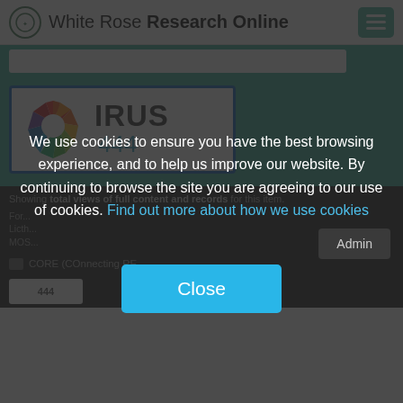White Rose Research Online
[Figure (logo): IRUS badge showing logo with colorful star and number 444]
Showing total views of full content and records for this item.
We use cookies to ensure you have the best browsing experience, and to help us improve our website. By continuing to browse the site you are agreeing to our use of cookies. Find out more about how we use cookies
Close
CORE (COnnecting RE...
Admin